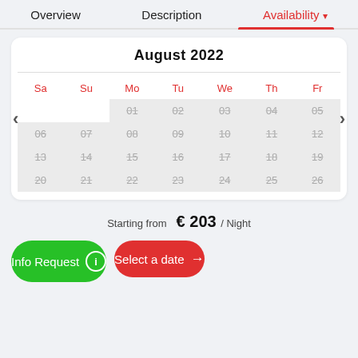Overview | Description | Availability
August 2022
| Sa | Su | Mo | Tu | We | Th | Fr |
| --- | --- | --- | --- | --- | --- | --- |
|  |  | 01 | 02 | 03 | 04 | 05 |
| 06 | 07 | 08 | 09 | 10 | 11 | 12 |
| 13 | 14 | 15 | 16 | 17 | 18 | 19 |
| 20 | 21 | 22 | 23 | 24 | 25 | 26 |
Starting from  € 203 / Night
Info Request
Select a date →